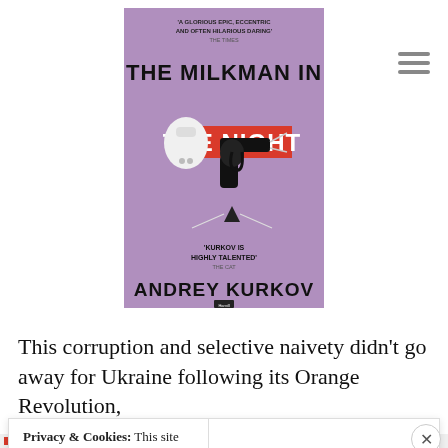[Figure (illustration): Book cover of 'The Milkman in The Night' by Andrey Kurkov. Purple background with a black silhouette of a revolver and a white milk bottle shape. Red text for 'THE NIGHT'. Black bold text for 'THE MILKMAN IN' and 'ANDREY KURKOV'. Pull quotes in small text at top and bottom of cover.]
This corruption and selective naivety didn't go away for Ukraine following its Orange Revolution,
Privacy & Cookies: This site uses cookies. By continuing to use this website, you agree to their use. To find out more, including how to control cookies, see here: Cookie Policy
Close and accept